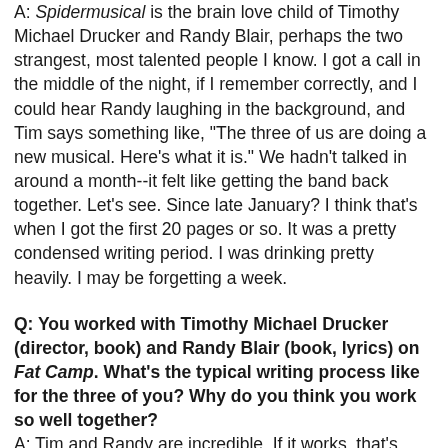A: Spidermusical is the brain love child of Timothy Michael Drucker and Randy Blair, perhaps the two strangest, most talented people I know. I got a call in the middle of the night, if I remember correctly, and I could hear Randy laughing in the background, and Tim says something like, "The three of us are doing a new musical. Here's what it is." We hadn't talked in around a month--it felt like getting the band back together. Let's see. Since late January? I think that's when I got the first 20 pages or so. It was a pretty condensed writing period. I was drinking pretty heavily. I may be forgetting a week.
Q: You worked with Timothy Michael Drucker (director, book) and Randy Blair (book, lyrics) on Fat Camp. What's the typical writing process like for the three of you? Why do you think you work so well together?
A: Tim and Randy are incredible. If it works, that's why. Randy's lyrics immediately convey what a song needs to do--my part's easy from there. My background is not musical theater, it's rock and indie music, and they embrace that. I'm in the room with two of my best friends, writing music. It's just a lot of fun. Usually I'll get Randy's lyrics and we'll bounce